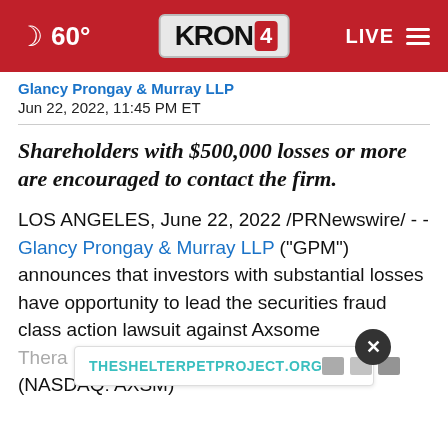[Figure (screenshot): KRON4 news website navigation bar with moon icon, 60° temperature, KRON4 logo, LIVE indicator, and hamburger menu on red background]
Glancy Prongay & Murray LLP
Jun 22, 2022, 11:45 PM ET
Shareholders with $500,000 losses or more are encouraged to contact the firm.
LOS ANGELES, June 22, 2022 /PRNewswire/ - - Glancy Prongay & Murray LLP ("GPM") announces that investors with substantial losses have opportunity to lead the securities fraud class action lawsuit against Axsome Thera… any") (NASDAQ: AXSM)
[Figure (screenshot): Advertisement banner for THESHELTERPETPROJECT.ORG with teal text and icons, with a close button]